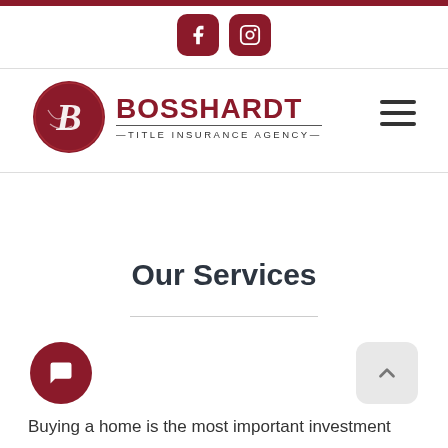[Figure (logo): Bosshardt Title Insurance Agency logo with circular B emblem in dark red, company name in red bold text, and tagline below]
[Figure (other): Social media icons: Facebook (f) and Instagram camera icon, dark red rounded square buttons]
Our Services
Buying a home is the most important investment